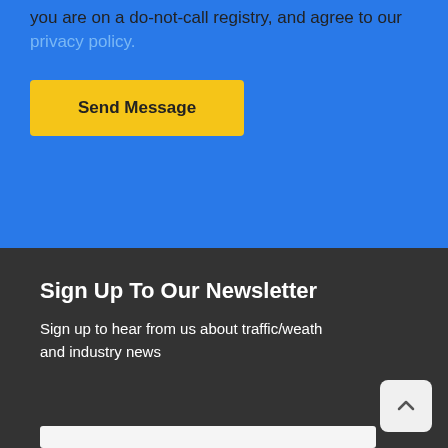you are on a do-not-call registry, and agree to our privacy policy.
Send Message
Sign Up To Our Newsletter
Sign up to hear from us about traffic/weather and industry news